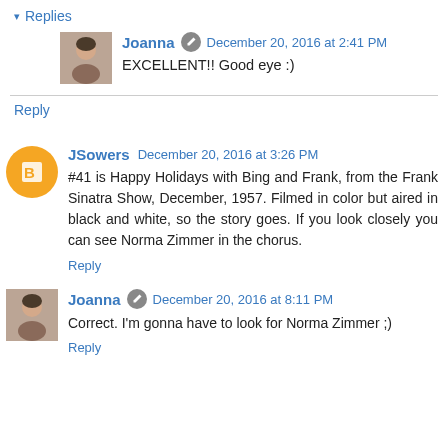▾ Replies
Joanna  December 20, 2016 at 2:41 PM
EXCELLENT!! Good eye :)
Reply
JSowers  December 20, 2016 at 3:26 PM
#41 is Happy Holidays with Bing and Frank, from the Frank Sinatra Show, December, 1957. Filmed in color but aired in black and white, so the story goes. If you look closely you can see Norma Zimmer in the chorus.
Reply
Joanna  December 20, 2016 at 8:11 PM
Correct. I'm gonna have to look for Norma Zimmer ;)
Reply